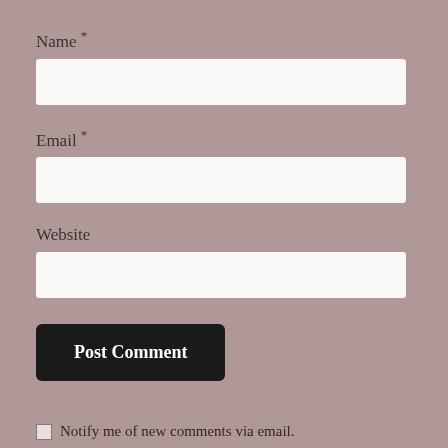Name *
[Figure (other): Empty text input field for Name]
Email *
[Figure (other): Empty text input field for Email]
Website
[Figure (other): Empty text input field for Website]
[Figure (other): Post Comment button, dark background with white text]
Notify me of new comments via email.
Notify me of new posts via email.